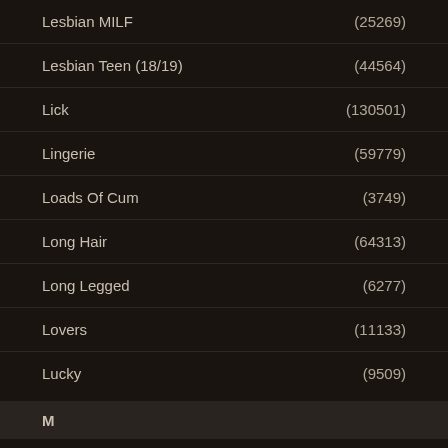Lesbian MILF (25269)
Lesbian Teen (18/19) (44564)
Lick (130501)
Lingerie (59779)
Loads Of Cum (3749)
Long Hair (64313)
Long Legged (6277)
Lovers (11133)
Lucky (9509)
M
MILF (224107)